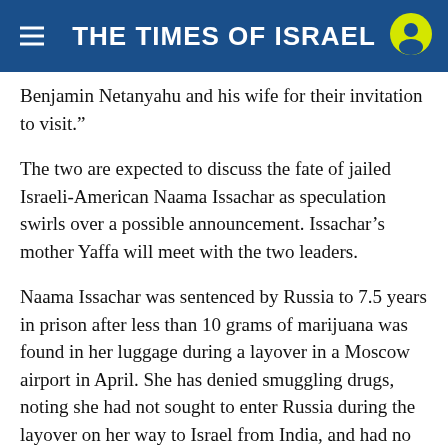THE TIMES OF ISRAEL
Benjamin Netanyahu and his wife for their invitation to visit.”
The two are expected to discuss the fate of jailed Israeli-American Naama Issachar as speculation swirls over a possible announcement. Issachar’s mother Yaffa will meet with the two leaders.
Naama Issachar was sentenced by Russia to 7.5 years in prison after less than 10 grams of marijuana was found in her luggage during a layover in a Moscow airport in April. She has denied smuggling drugs, noting she had not sought to enter Russia during the layover on her way to Israel from India, and had no access to